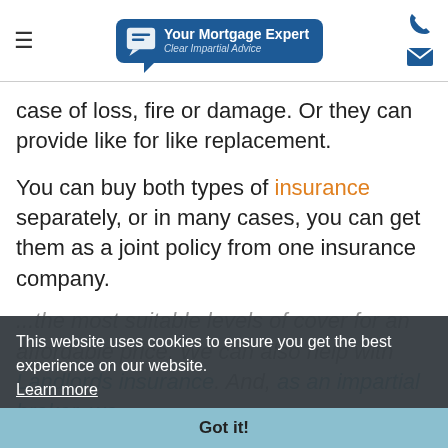Your Mortgage Expert — Clear Impartial Advice
case of loss, fire or damage. Or they can provide like for like replacement.
You can buy both types of insurance separately, or in many cases, you can get them as a joint policy from one insurance company.
...the most suitable levels of cover for an affordable price. We can also help with Landlords insurance. And, as an impartial broker, we can advise from across the market and
This website uses cookies to ensure you get the best experience on our website. Learn more
Got it!